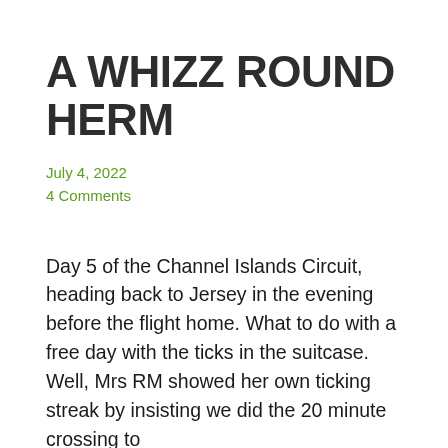A WHIZZ ROUND HERM
July 4, 2022
4 Comments
Day 5 of the Channel Islands Circuit, heading back to Jersey in the evening before the flight home. What to do with a free day with the ticks in the suitcase. Well, Mrs RM showed her own ticking streak by insisting we did the 20 minute crossing to